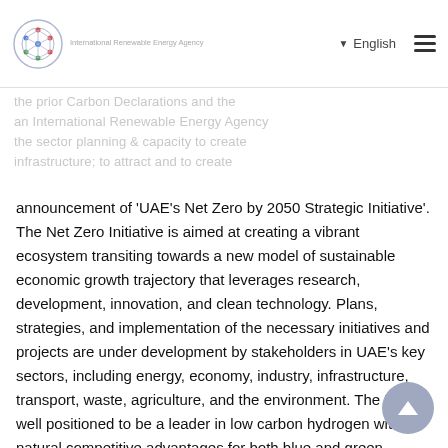English
announcement of 'UAE's Net Zero by 2050 Strategic Initiative'. The Net Zero Initiative is aimed at creating a vibrant ecosystem transiting towards a new model of sustainable economic growth trajectory that leverages research, development, innovation, and clean technology. Plans, strategies, and implementation of the necessary initiatives and projects are under development by stakeholders in UAE's key sectors, including energy, economy, industry, infrastructure, transport, waste, agriculture, and the environment. The UAE is well positioned to be a leader in low carbon hydrogen with natural competitive advantages for both blue and green hydrogen, however, green hydrogen production remains in its infancy, requiring an international collaboration to accelerate its development. Green hydrogen is envisaged to play a significant role in UAE's domestic strategy to meet the UAE 2050 Net-Zero goals and which will also assist